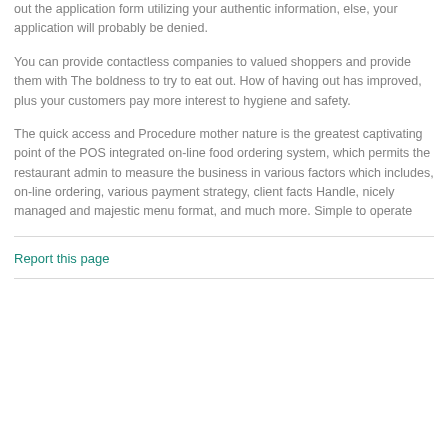out the application form utilizing your authentic information, else, your application will probably be denied.
You can provide contactless companies to valued shoppers and provide them with The boldness to try to eat out. How of having out has improved, plus your customers pay more interest to hygiene and safety.
The quick access and Procedure mother nature is the greatest captivating point of the POS integrated on-line food ordering system, which permits the restaurant admin to measure the business in various factors which includes, on-line ordering, various payment strategy, client facts Handle, nicely managed and majestic menu format, and much more. Simple to operate
Report this page